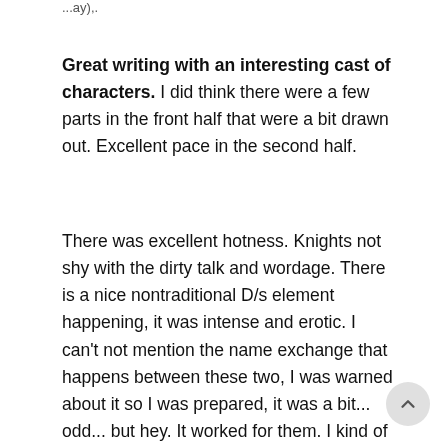...ay),.
Great writing with an interesting cast of characters. I did think there were a few parts in the front half that were a bit drawn out. Excellent pace in the second half.
There was excellent hotness. Knights not shy with the dirty talk and wordage. There is a nice nontraditional D/s element happening, it was intense and erotic. I can't not mention the name exchange that happens between these two, I was warned about it so I was prepared, it was a bit... odd... but hey. It worked for them. I kind of just had to accept it and go with it.